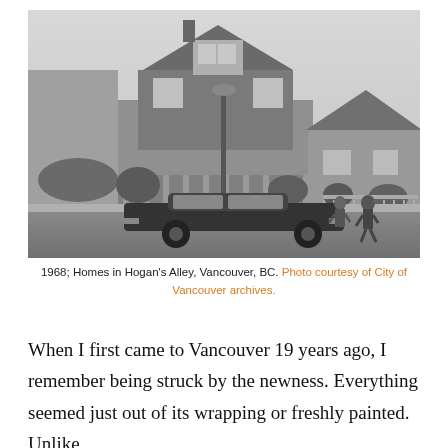[Figure (photo): Black and white photograph from 1968 showing homes in Hogan's Alley, Vancouver, BC. Two-storey Victorian-style house in center, smaller house to the right, vintage automobile parked on the street in foreground, two people visible near the car.]
1968; Homes in Hogan's Alley, Vancouver, BC. Photo courtesy of City of Vancouver archives.
When I first came to Vancouver 19 years ago, I remember being struck by the newness. Everything seemed just out of its wrapping or freshly painted. Unlike